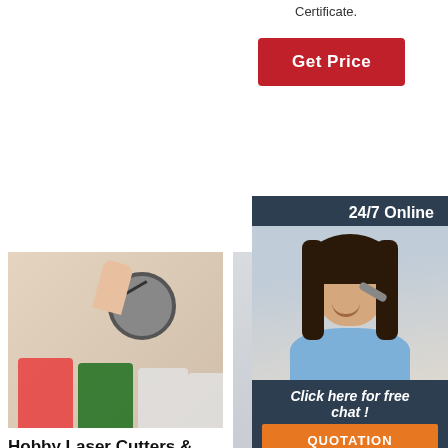Certificate.
[Figure (other): Red 'Get Price' button]
[Figure (other): 24/7 Online chat panel with agent photo, 'Click here for free chat!' text, and orange QUOTATION button]
[Figure (photo): Hand measuring paint or ink in cups with a gauge]
Hobby Laser Cutters & Engravers
The Beamo laser cutter is the smallest, lightest, and most affordable CO2 laser cutter and engraving machine on the
[Figure (photo): Industrial laser machine on wheels]
5 Most Affordable Best Laser Cutters for Small Businesses
2020-8-5u2002·u20021)
EMIT 1612 – Most
[Figure (photo): Partially visible product image, similar paint cups]
50w laser cutter and engraving machine... Amazon.in ...
4 offers from ₹32,948.00. 3 idea Imagine Create Print Snapmaker 2.0 (A150) Modular 3